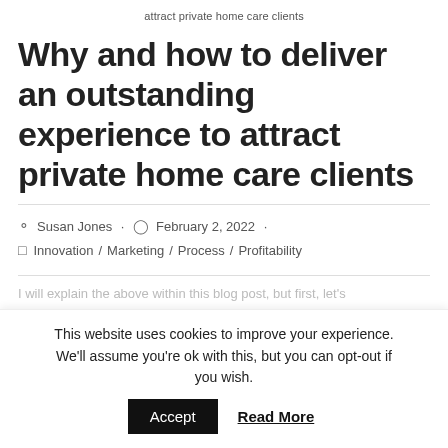attract private home care clients
Why and how to deliver an outstanding experience to attract private home care clients
Susan Jones · February 2, 2022 · Innovation / Marketing / Process / Profitability
I will explain the above within this blog post, but first, let's
This website uses cookies to improve your experience. We'll assume you're ok with this, but you can opt-out if you wish. Accept Read More